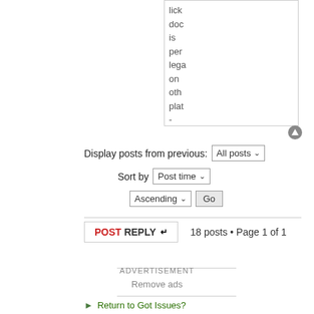lick doc is per lega on oth plat - Ja Lun
Display posts from previous:
All posts
Sort by
Post time
Ascending
Go
POSTREPLY
18 posts • Page 1 of 1
ADVERTISEMENT
Remove ads
Return to Got Issues?
Jump to:
Got Issues?